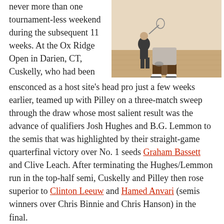never more than one tournament-less weekend during the subsequent 11 weeks. At the Ox Ridge Open in Darien, CT, Cuskelly, who had been
[Figure (photo): Two squash players on an indoor court, one in the foreground in a low stance wearing grey shorts, another player visible in the background.]
ensconced as a host site's head pro just a few weeks earlier, teamed up with Pilley on a three-match sweep through the draw whose most salient result was the advance of qualifiers Josh Hughes and B.G. Lemmon to the semis that was highlighted by their straight-game quarterfinal victory over No. 1 seeds Graham Bassett and Clive Leach. After terminating the Hughes/Lemmon run in the top-half semi, Cuskelly and Pilley then rose superior to Clinton Leeuw and Hamed Anvari (semis winners over Chris Binnie and Chris Hanson) in the final.
To that juncture of the season, Mathur and Callis had been